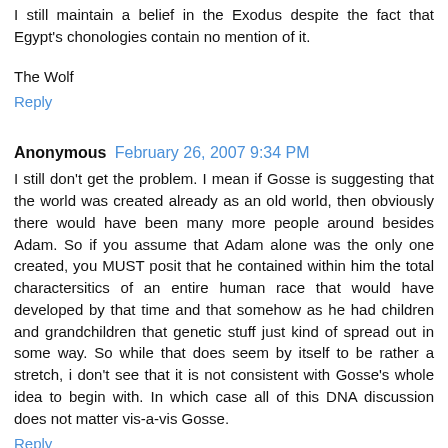I still maintain a belief in the Exodus despite the fact that Egypt's chonologies contain no mention of it.
The Wolf
Reply
Anonymous February 26, 2007 9:34 PM
I still don't get the problem. I mean if Gosse is suggesting that the world was created already as an old world, then obviously there would have been many more people around besides Adam. So if you assume that Adam alone was the only one created, you MUST posit that he contained within him the total charactersitics of an entire human race that would have developed by that time and that somehow as he had children and grandchildren that genetic stuff just kind of spread out in some way. So while that does seem by itself to be rather a stretch, i don't see that it is not consistent with Gosse's whole idea to begin with. In which case all of this DNA discussion does not matter vis-a-vis Gosse.
Reply